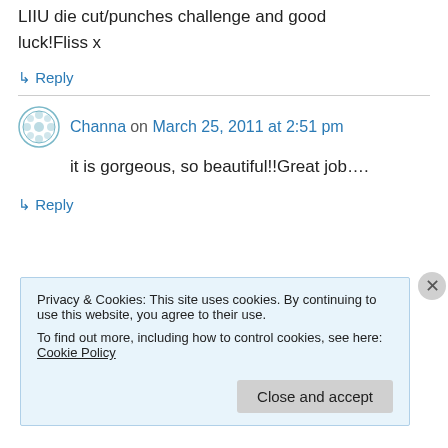LIIU die cut/punches challenge and good luck!Fliss x
↳ Reply
Channa on March 25, 2011 at 2:51 pm
it is gorgeous, so beautiful!!Great job….
↳ Reply
Privacy & Cookies: This site uses cookies. By continuing to use this website, you agree to their use.
To find out more, including how to control cookies, see here: Cookie Policy
Close and accept